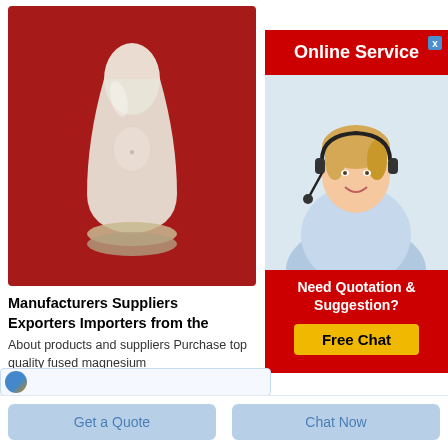[Figure (photo): Photo of a white powder in a glass bottle/flask shaped container, set on a red background]
Manufacturers Suppliers Exporters Importers from the
About products and suppliers Purchase top quality fused magnesium
Get Price
[Figure (photo): Online Service banner with a female customer service agent wearing a headset, smiling. Includes 'Need Quotation & Suggestion? Free Chat' call to action button.]
Get a Quote
Chat Now